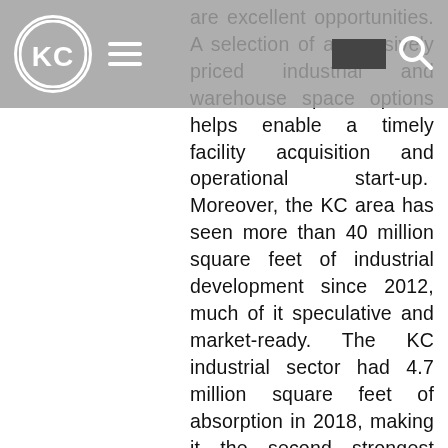KC [logo] [hamburger menu] [rectangle] [search icon]
are excellent opportunities. A selection of aggressively priced industrial and warehouse space options helps enable a timely facility acquisition and operational start-up.  Moreover, the KC area has seen more than 40 million square feet of industrial development since 2012, much of it speculative and market-ready. The KC industrial sector had 4.7 million square feet of absorption in 2018, making it the second strongest year on record following only the record-setting 2017. The Kansas City region is also unique in that all five of the class 1 rail lines have intermodal facilities that are significant hubs in the national network. Three of these have industrial park developments adjacent to the rail facilities. Kansas City will continue to be a key region for railroad